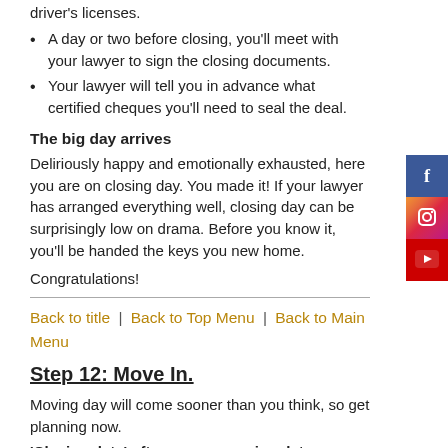driver's licenses.
A day or two before closing, you'll meet with your lawyer to sign the closing documents.
Your lawyer will tell you in advance what certified cheques you'll need to seal the deal.
The big day arrives
Deliriously happy and emotionally exhausted, here you are on closing day. You made it! If your lawyer has arranged everything well, closing day can be surprisingly low on drama. Before you know it, you'll be handed the keys you new home.
Congratulations!
Back to title | Back to Top Menu | Back to Main Menu
Step 12:  Move In.
Moving day will come sooner than you think, so get planning now.
'Closing date' often means moving date.
Unless you have major repairs or renovations planned, you probably want to move in the day you take possession. If you intend to move at the end of the month, contact a moving company or truck rental company now. Most people move during this time and there aren't trucks and movers for everybody. If you can move mid-week or mid-